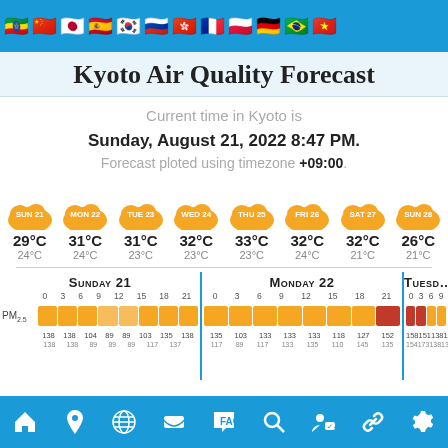[Figure (infographic): Flag bar with country flags at top of app]
Kyoto Air Quality Forecast
Current time in Kyoto is
Sunday, August 21, 2022 8:47 PM.
Forecast ploted using timezone +09:00.
[Figure (infographic): 8-day weather forecast icons (cloud badges) for SUN 21 through SUN 28 with high/low temperatures]
| Day | Hour 0 | Hour 3 | Hour 6 | Hour 9 | Hour 12 | Hour 15 | Hour 18 | Hour 21 |
| --- | --- | --- | --- | --- | --- | --- | --- | --- |
| Sunday 21 | 138 | 138 | 104 | 89 | 89 | 103 | 135 | 138 |
| Monday 22 | 135 | 103 | 133 | 133 | 133 | 118 | 127 | 152 |
| Tuesday 23 | 158 | 151 | 138 | 138 |  |  |  |  |
[Figure (infographic): Bottom navigation bar with home, location, globe, mask, FAQ, search, person, link, settings icons]